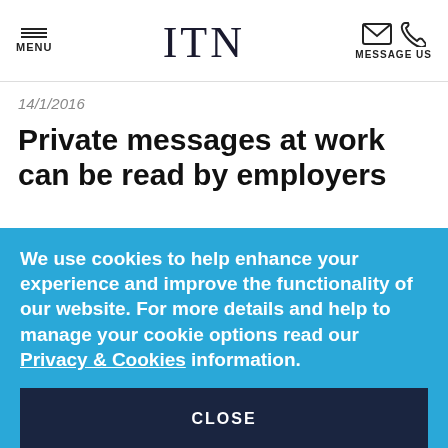MENU | ITN | MESSAGE US
14/1/2016
Private messages at work can be read by employers
Employers can read workers' private messages sent via chat software and webmail accounts during...
We use cookies to help enhance your experience and improve the functionality of our website. For more details and help to manage your cookie options read our Privacy & Cookies information.
CLOSE